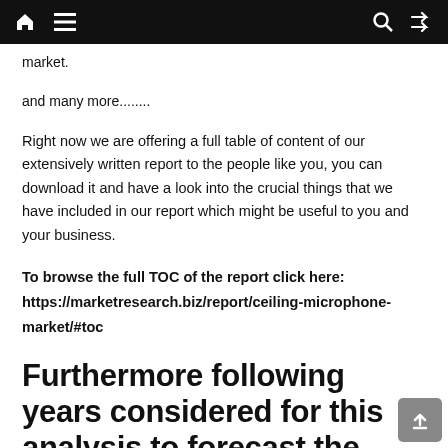Navigation bar with home, menu, search, shuffle icons
market.
and many more........
Right now we are offering a full table of content of our extensively written report to the people like you, you can download it and have a look into the crucial things that we have included in our report which might be useful to you and your business.
To browse the full TOC of the report click here: https://marketresearch.biz/report/ceiling-microphone-market/#toc
Furthermore following years considered for this analysis to forecast the global market size